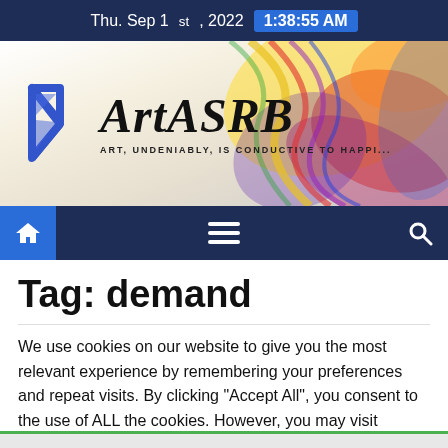Thu. Sep 1st, 2022  1:38:55 AM
[Figure (logo): ArtASRB website banner with geometric blue arrow logo and colorful marbled background. Site title 'ArtASRB' in large bold italic serif font, tagline 'ART, UNDENIABLY, IS CONDUCTIVE TO HAPPINESS']
[Figure (infographic): Navigation bar with home icon (blue square), hamburger menu icon (center), and search icon (right) on dark navy background]
Tag: demand
We use cookies on our website to give you the most relevant experience by remembering your preferences and repeat visits. By clicking "Accept All", you consent to the use of ALL the cookies. However, you may visit "Cookie Settings" to provide a controlled consent.